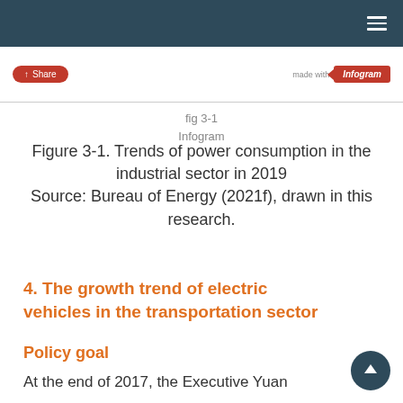[Figure (screenshot): Infogram embedded figure toolbar with Share button on left and 'made with Infogram' badge on right, separated by a horizontal rule]
fig 3-1
Infogram
Figure 3-1. Trends of power consumption in the industrial sector in 2019
Source: Bureau of Energy (2021f), drawn in this research.
4. The growth trend of electric vehicles in the transportation sector
Policy goal
At the end of 2017, the Executive Yuan